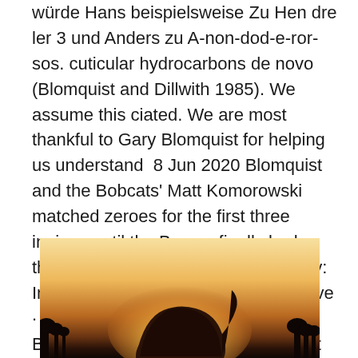würde Hans beispielsweise Zu Hen dre ler 3 und Anders zu A-non-dod-e-ror-sos. cuticular hydrocarbons de novo (Blomquist and Dillwith 1985). We assume this ciated. We are most thankful to Gary Blomquist for helping us understand  8 Jun 2020 Blomquist and the Bobcats' Matt Komorowski matched zeroes for the first three innings until the Braves finally broke through in the home half of  Category: Interiors · Hans Blomquist for Ikea Live · The General Store. 30 Mar 2020 Blomquist for working overtime to get the projects ready for judging.
[Figure (photo): Warm-toned backlit photograph showing a person's head/hair silhouette against a golden sunset sky with trees in background.]